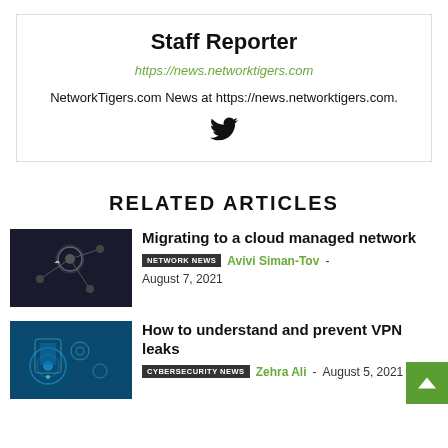Staff Reporter
https://news.networktigers.com
NetworkTigers.com News at https://news.networktigers.com.
[Figure (illustration): Twitter bird icon]
RELATED ARTICLES
[Figure (photo): Dark network/cloud technology image]
Migrating to a cloud managed network
NETWORK NEWS  Avivi Siman-Tov - August 7, 2021
[Figure (photo): Blue cybersecurity image with person and digital icons]
How to understand and prevent VPN leaks
CYBERSECURITY NEWS  Zehra Ali - August 5, 2021